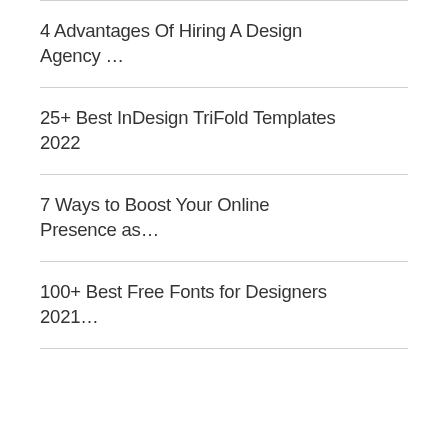4 Advantages Of Hiring A Design Agency …
25+ Best InDesign TriFold Templates 2022
7 Ways to Boost Your Online Presence as…
100+ Best Free Fonts for Designers 2021…